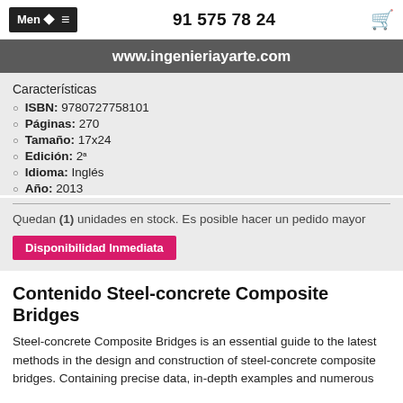Menú ≡   91 575 78 24
www.ingenieriayarte.com
Características
ISBN: 9780727758101
Páginas: 270
Tamaño: 17x24
Edición: 2ª
Idioma: Inglés
Año: 2013
Quedan (1) unidades en stock. Es posible hacer un pedido mayor
Disponibilidad Inmediata
Contenido Steel-concrete Composite Bridges
Steel-concrete Composite Bridges is an essential guide to the latest methods in the design and construction of steel-concrete composite bridges. Containing precise data, in-depth examples and numerous